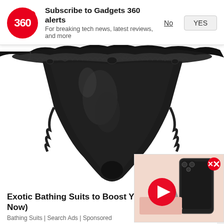[Figure (screenshot): Gadgets 360 push notification banner with red circle logo showing '360', title 'Subscribe to Gadgets 360 alerts', subtitle 'For breaking tech news, latest reviews, and more', with 'No' and 'YES' buttons]
[Figure (photo): A black lace thong/lingerie item on white background, product photo cropped from top]
Exotic Bathing Suits to Boost Your C... Now)
Bathing Suits | Search Ads | Sponsored
[Figure (screenshot): Floating video widget showing a smartphone on pink background with a red play button overlay, and a red X close button in upper right corner]